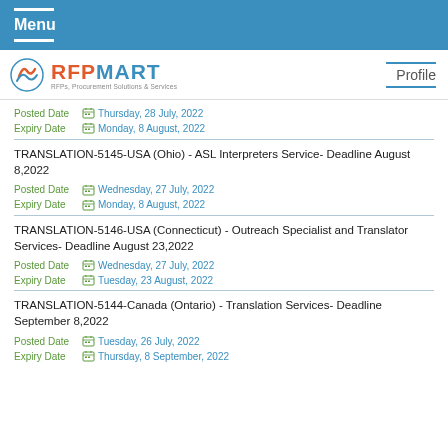Menu
[Figure (logo): RFPMART logo with tagline RFPs, Procurement Solutions & Services]
Posted Date  Thursday, 28 July, 2022
Expiry Date  Monday, 8 August, 2022
TRANSLATION-5145-USA (Ohio) - ASL Interpreters Service- Deadline August 8,2022
Posted Date  Wednesday, 27 July, 2022
Expiry Date  Monday, 8 August, 2022
TRANSLATION-5146-USA (Connecticut) - Outreach Specialist and Translator Services- Deadline August 23,2022
Posted Date  Wednesday, 27 July, 2022
Expiry Date  Tuesday, 23 August, 2022
TRANSLATION-5144-Canada (Ontario) - Translation Services- Deadline September 8,2022
Posted Date  Tuesday, 26 July, 2022
Expiry Date  Thursday, 8 September, 2022